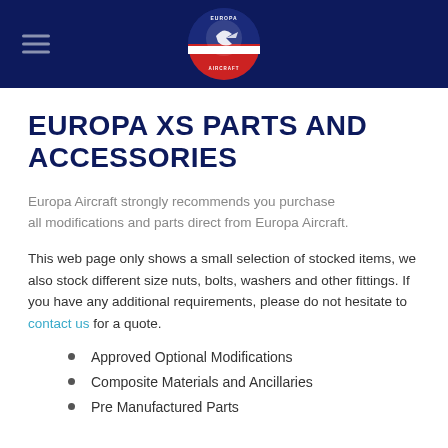Europa Aircraft — navigation header with logo
EUROPA XS PARTS AND ACCESSORIES
Europa Aircraft strongly recommends you purchase all modifications and parts direct from Europa Aircraft.
This web page only shows a small selection of stocked items, we also stock different size nuts, bolts, washers and other fittings. If you have any additional requirements, please do not hesitate to contact us for a quote.
Approved Optional Modifications
Composite Materials and Ancillaries
Pre Manufactured Parts